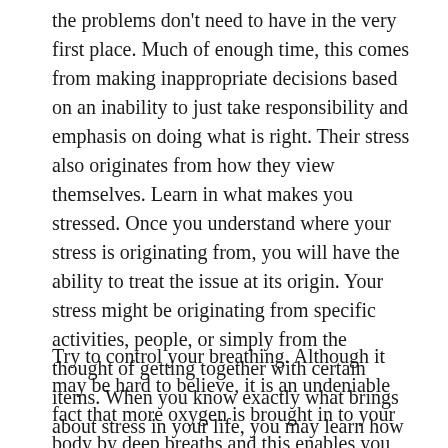the problems don't need to have in the very first place. Much of enough time, this comes from making inappropriate decisions based on an inability to just take responsibility and emphasis on doing what is right. Their stress also originates from how they view themselves. Learn in what makes you stressed. Once you understand where your stress is originating from, you will have the ability to treat the issue at its origin. Your stress might be originating from specific activities, people, or simply from the thought of getting together with certain items. When you know exactly what brings about stress in your life, you may learn how to handle or eliminate these things.
Try to control your breathing. Although it may be hard to believe, it is an undeniable fact that more oxygen is brought in to your body by deep breaths and this enables you to relax faster. Usually, folks